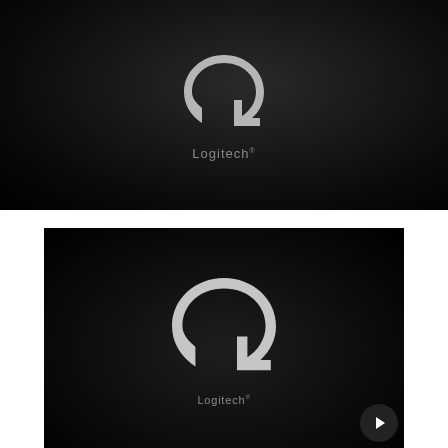[Figure (logo): Logitech logo on dark background - top panel, showing the Logitech 'G' style mark in light grey with textured lines and the word Logitech below in grey sans-serif font]
[Figure (logo): Logitech logo on dark background - bottom panel, showing a larger Logitech 'G' mark in light grey with textured lines and the word Logitech below in grey sans-serif font, with a play button (triangle in circle) in the bottom-right corner]